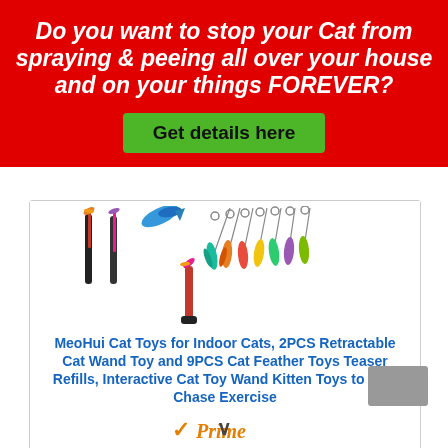Do you want to stop your Cat from spraying & peeing all over your house and on your things FOREVER?
Get details here
[Figure (photo): Cat wand toys product image showing 2 retractable wands and 9 colorful feather refill attachments]
MeoHui Cat Toys for Indoor Cats, 2PCS Retractable Cat Wand Toy and 9PCS Cat Feather Toys Teaser Refills, Interactive Cat Toy Wand Kitten Toys to Play Chase Exercise
[Figure (logo): Amazon Prime checkmark and Prime text logo in orange]
Check Latest Price